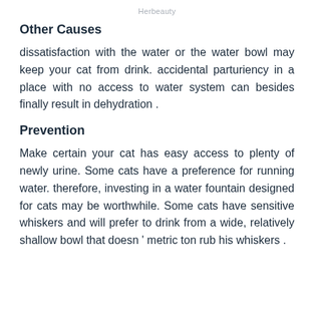Herbeauty
Other Causes
dissatisfaction with the water or the water bowl may keep your cat from drink. accidental parturiency in a place with no access to water system can besides finally result in dehydration .
Prevention
Make certain your cat has easy access to plenty of newly urine. Some cats have a preference for running water. therefore, investing in a water fountain designed for cats may be worthwhile. Some cats have sensitive whiskers and will prefer to drink from a wide, relatively shallow bowl that doesn ' metric ton rub his whiskers .